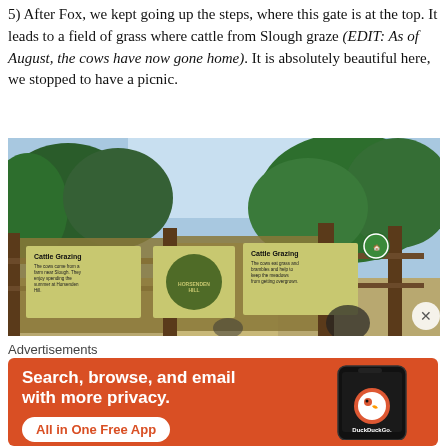5) After Fox, we kept going up the steps, where this gate is at the top. It leads to a field of grass where cattle from Slough graze (EDIT: As of August, the cows have now gone home). It is absolutely beautiful here, we stopped to have a picnic.
[Figure (photo): A wooden gate with 'Cattle Grazing' signs and a Horniman Hills logo, leading to a grassy field with dense green trees in the background. A green circular badge is visible on the gate post. People are partially visible in the foreground.]
Advertisements
[Figure (screenshot): DuckDuckGo advertisement on orange background: 'Search, browse, and email with more privacy. All in One Free App' with DuckDuckGo logo and phone graphic.]